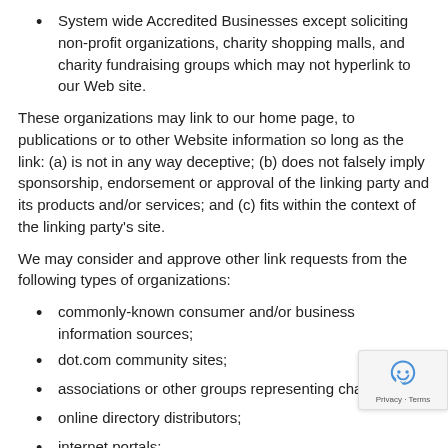System wide Accredited Businesses except soliciting non-profit organizations, charity shopping malls, and charity fundraising groups which may not hyperlink to our Web site.
These organizations may link to our home page, to publications or to other Website information so long as the link: (a) is not in any way deceptive; (b) does not falsely imply sponsorship, endorsement or approval of the linking party and its products and/or services; and (c) fits within the context of the linking party's site.
We may consider and approve other link requests from the following types of organizations:
commonly-known consumer and/or business information sources;
dot.com community sites;
associations or other groups representing charities;
online directory distributors;
internet portals;
accounting, law and consulting firms; and